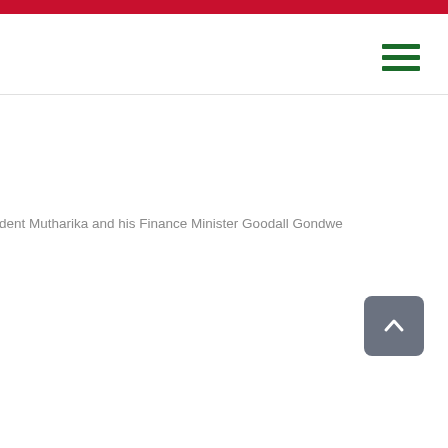ident Mutharika and his Finance Minister Goodall Gondwe